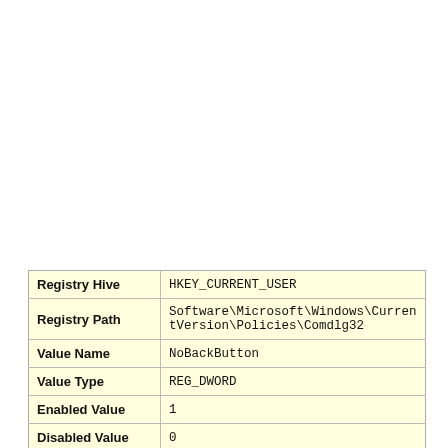| Property | Value |
| --- | --- |
| Registry Hive | HKEY_CURRENT_USER |
| Registry Path | Software\Microsoft\Windows\CurrentVersion\Policies\Comdlg32 |
| Value Name | NoBackButton |
| Value Type | REG_DWORD |
| Enabled Value | 1 |
| Disabled Value | 0 |
|  |  |